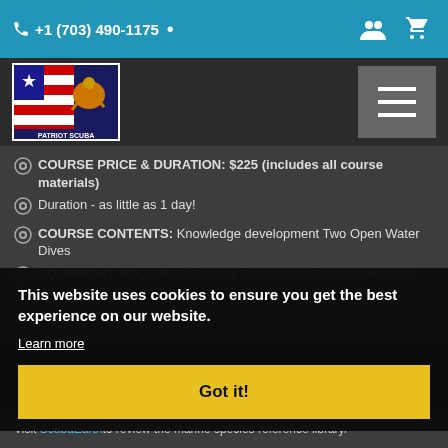+1 (703) 490-1175
[Figure (logo): Patriot Scuba logo with diver and American flag colors]
COURSE PRICE & DURATION: $225 (includes all course materials)
Duration - as little as 1 day!
COURSE CONTENTS: Knowledge development Two Open Water Dives
EQUIPMENT REQUIRED: Normal Scuba GearSlate for recording your findings
LINK: Medical statement (pdf)
This website uses cookies to ensure you get the best experience on our website.
Learn more
Got it!
Visit ScubaEarthto review the marine species reference library/